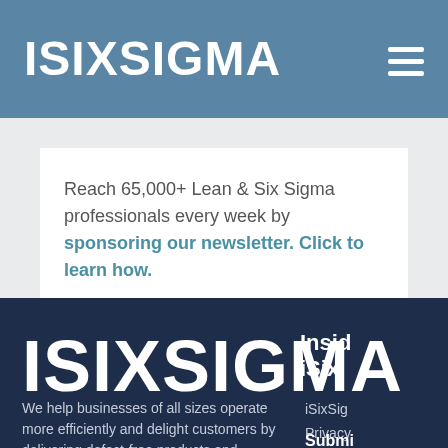ISIXSIGMA
Reach 65,000+ Lean & Six Sigma professionals every week by sponsoring our newsletter. Click to learn how.
[Figure (logo): ISIXSIGMA logo large white text on dark navy background]
Inside iSixSigma
We help businesses of all sizes operate more efficiently and delight customers by delivering defect-free products and services.
iSixSigma
Privacy
Submit